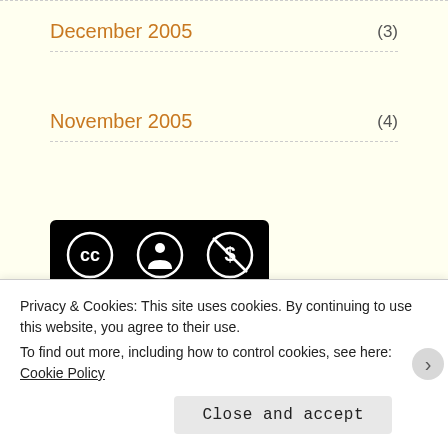December 2005 (3)
November 2005 (4)
[Figure (logo): Creative Commons BY NC SA license badge — black rounded rectangle with CC, person, dollar-sign-crossed, and refresh icons, with BY NC SA text below]
Jdanspsa Wyksui by Barnaby Haszard Morris is licensed under a Creative Commons Attribution-NonCommercial-ShareAlike 3.0 Unported License.
Privacy & Cookies: This site uses cookies. By continuing to use this website, you agree to their use.
To find out more, including how to control cookies, see here: Cookie Policy
Close and accept